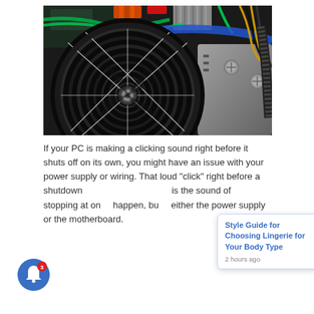[Figure (photo): Close-up photograph of a computer power supply unit fan with concentric black grill rings, cable wiring visible in the background including green, blue, and yellow/black cables, and a metallic silver/black PSU casing with screws.]
If your PC is making a clicking sound right before it shuts off on its own, you might have an issue with your power supply or wiring. That loud “click” right before a shutdown is the sound of stopping at on happen, bu either the power supply or the motherboard.
[Figure (screenshot): Notification popup overlay showing: 'Style Guide for Choosing Lingerie for Your Body Type' in blue text, '2 hours ago' in grey, with an X close button and a blue bell notification icon with red badge showing '3'.]